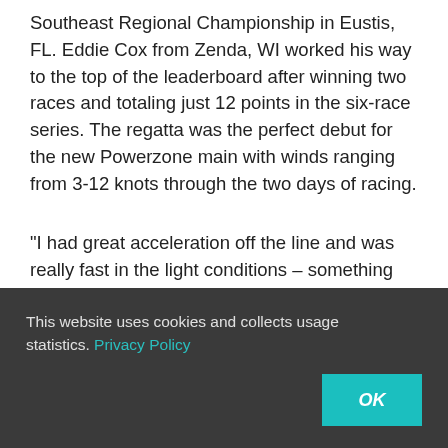Southeast Regional Championship in Eustis, FL. Eddie Cox from Zenda, WI worked his way to the top of the leaderboard after winning two races and totaling just 12 points in the six-race series. The regatta was the perfect debut for the new Powerzone main with winds ranging from 3-12 knots through the two days of racing.
“I had great acceleration off the line and was really fast in the light conditions – something we race in so often”, said Cox. The new sails feature improvements to enhance downwind speed, which could be seen at the event.
The SER kicked off the Quantum Sails Triple Crown Series
This website uses cookies and collects usage statistics. Privacy Policy